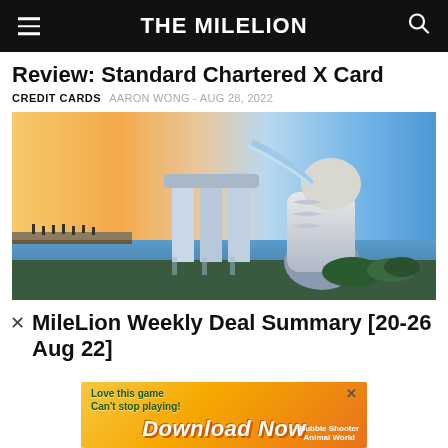THE MILELION
Review: Standard Chartered X Card
CREDIT CARDS   AARON WONG - AUG 28, 2022
[Figure (photo): Singapore Merlion statue with Marina Bay Sands in the background at sunset, water fountain, walkway with people on the left]
MileLion Weekly Deal Summary [20-26 Aug 22]
[Figure (other): Advertisement banner: Love this game Can't stop playing! Download Now - Bubble Shooter Animal World]